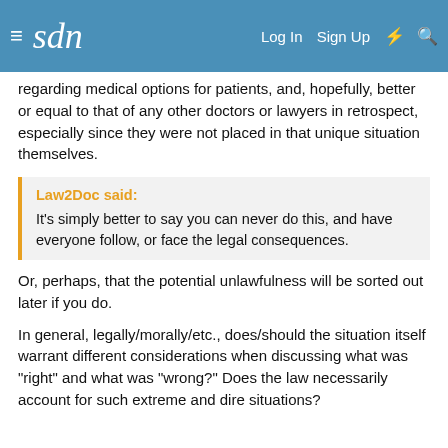sdn | Log In | Sign Up
regarding medical options for patients, and, hopefully, better or equal to that of any other doctors or lawyers in retrospect, especially since they were not placed in that unique situation themselves.
Law2Doc said:
It's simply better to say you can never do this, and have everyone follow, or face the legal consequences.
Or, perhaps, that the potential unlawfulness will be sorted out later if you do.
In general, legally/morally/etc., does/should the situation itself warrant different considerations when discussing what was "right" and what was "wrong?" Does the law necessarily account for such extreme and dire situations?